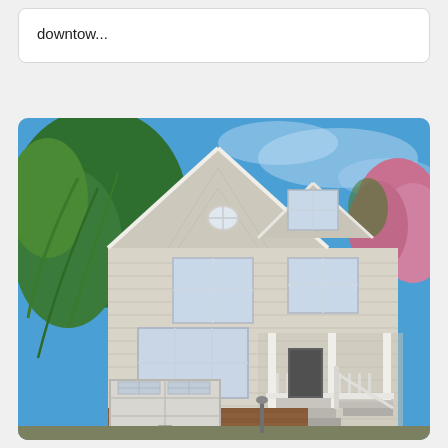downtow...
[Figure (photo): Exterior photo of a two-story colonial-style house with light gray/beige vinyl siding, multiple gabled dormers, a covered front porch with white railings and columns, a single-car garage with white door at ground level with brick facade, front steps, and surrounded by green trees and a blooming pink crepe myrtle. Taken on a sunny day with bright blue sky.]